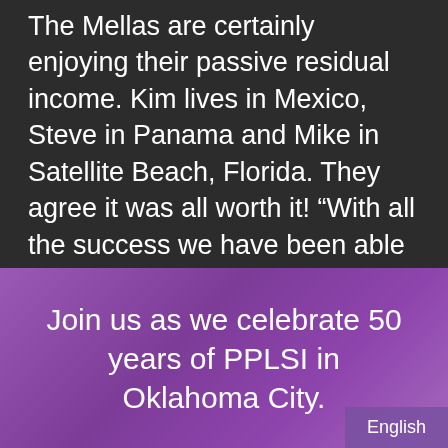The Mellas are certainly enjoying their passive residual income. Kim lives in Mexico, Steve in Panama and Mike in Satellite Beach, Florida. They agree it was all worth it! “With all the success we have been able to achieve here in LegalShield, still we know that the best is yet to come.”
Join us as we celebrate 50 years of PPLSI in Oklahoma City.
English